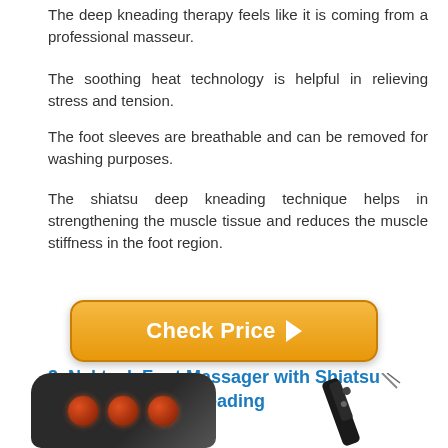The deep kneading therapy feels like it is coming from a professional masseur.
The soothing heat technology is helpful in relieving stress and tension.
The foot sleeves are breathable and can be removed for washing purposes.
The shiatsu deep kneading technique helps in strengthening the muscle tissue and reduces the muscle stiffness in the foot region.
[Figure (other): Orange 'Check Price' button with right-pointing arrow]
3. Nekteck Foot Massager with Shiatsu Heated Electric Kneading
[Figure (photo): Foot massager device shown from two angles: front view showing red kneading nodes on dark body, and remote control accessory]